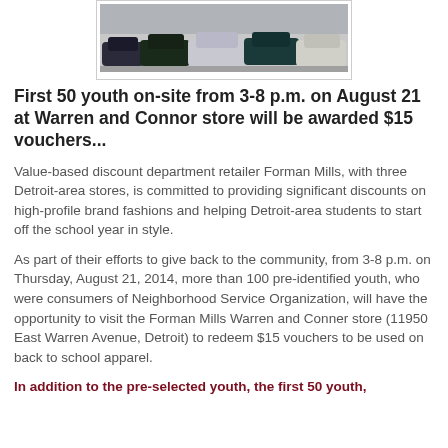[Figure (photo): Parking lot with several cars parked in front of a store building]
First 50 youth on-site from 3-8 p.m. on August 21 at Warren and Connor store will be awarded $15 vouchers...
Value-based discount department retailer Forman Mills, with three Detroit-area stores, is committed to providing significant discounts on high-profile brand fashions and helping Detroit-area students to start off the school year in style.
As part of their efforts to give back to the community, from 3-8 p.m. on Thursday, August 21, 2014, more than 100 pre-identified youth, who were consumers of Neighborhood Service Organization, will have the opportunity to visit the Forman Mills Warren and Conner store (11950 East Warren Avenue, Detroit) to redeem $15 vouchers to be used on back to school apparel.
In addition to the pre-selected youth, the first 50 youth,